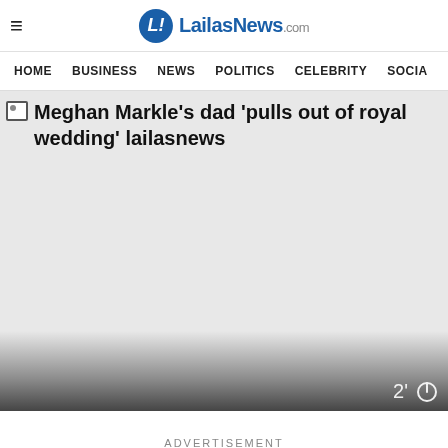LailasNews.com
HOME  BUSINESS  NEWS  POLITICS  CELEBRITY  SOCIA
[Figure (screenshot): Broken image placeholder with alt text reading: Meghan Markle's dad 'pulls out of royal wedding' lailasnews, shown over a grey background with a dark gradient at the bottom and a 2' timer icon overlay]
ADVERTISEMENT